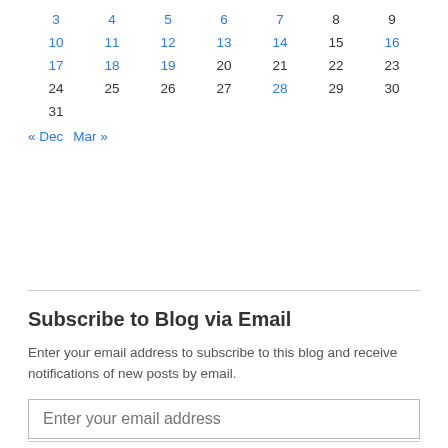| 3 | 4 | 5 | 6 | 7 | 8 | 9 |
| 10 | 11 | 12 | 13 | 14 | 15 | 16 |
| 17 | 18 | 19 | 20 | 21 | 22 | 23 |
| 24 | 25 | 26 | 27 | 28 | 29 | 30 |
| 31 |  |  |  |  |  |  |
« Dec   Mar »
Subscribe to Blog via Email
Enter your email address to subscribe to this blog and receive notifications of new posts by email.
Enter your email address
Subscribe
Join 117 other followers